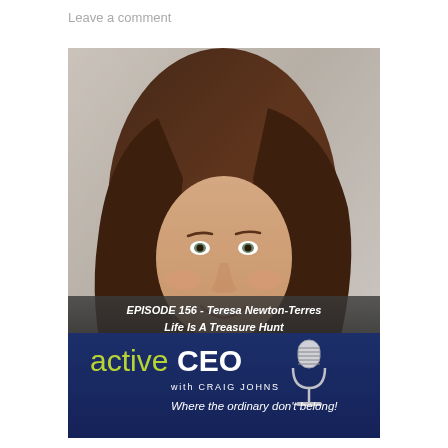Leave a comment
[Figure (photo): Podcast cover image showing a smiling woman with brown hair, overlaid with episode information. Bottom section shows 'active CEO with CRAIG JOHNS - Where the ordinary don't belong!' branding with podcast microphone icon. Text reads: EPISODE 156 - Teresa Newton-Terres Life Is A Treasure Hunt]